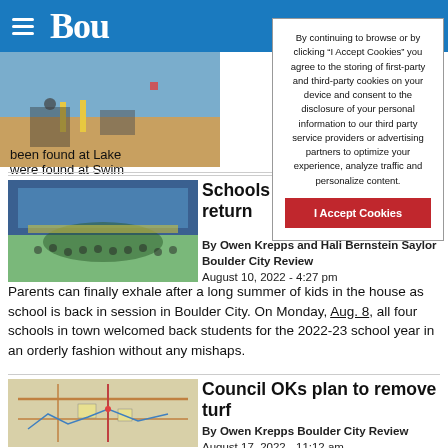Bou[lder City Review]
By continuing to browse or by clicking “I Accept Cookies” you agree to the storing of first-party and third-party cookies on your device and consent to the disclosure of your personal information to our third party service providers or advertising partners to optimize your experience, analyze traffic and personalize content.
I Accept Cookies
been found at Lake ... were found at Swim...
Schools report smooth return
By Owen Krepps and Hali Bernstein Saylor Boulder City Review
August 10, 2022 - 4:27 pm
Parents can finally exhale after a long summer of kids in the house as school is back in session in Boulder City. On Monday, Aug. 8, all four schools in town welcomed back students for the 2022-23 school year in an orderly fashion without any mishaps.
Council OKs plan to remove turf
By Owen Krepps Boulder City Review
August 17, 2022 - 11:12 am